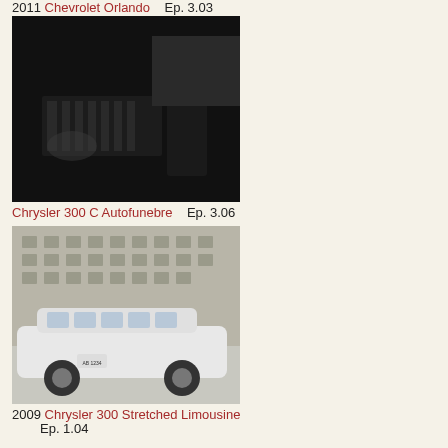2011 Chevrolet Orlando   Ep. 3.03
[Figure (photo): Dark scene with a blonde woman standing near a black car with a prominent front grille]
Chrysler 300 C Autofunebre   Ep. 3.06
[Figure (photo): White Chrysler 300 stretched limousine parked in front of an unfinished concrete apartment building]
2009 Chrysler 300 Stretched Limousine   Ep. 1.04
[Figure (photo): Dark street scene with a dark-colored Chrysler Grand Voyager minivan]
2001 Chrysler Grand Voyager   Ep. 2.07
[Figure (photo): Partial view of a car near a building, bottom of page cut off]